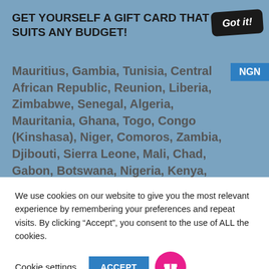GET YOURSELF A GIFT CARD THAT SUITS ANY BUDGET!
Mauritius, Gambia, Tunisia, Central African Republic, Reunion, Liberia, Zimbabwe, Senegal, Algeria, Mauritania, Ghana, Togo, Congo (Kinshasa), Niger, Comoros, Zambia, Djibouti, Sierra Leone, Mali, Chad, Gabon, Botswana, Nigeria, Kenya, South Africa, Cape Verde, Saint Helena, Morocco, Eswatini, Ethiopia, Benin, Namibia, Guinea-Bissau, Mayotte, Cameroon
We use cookies on our website to give you the most relevant experience by remembering your preferences and repeat visits. By clicking “Accept”, you consent to the use of ALL the cookies.
Cookie settings
ACCEPT